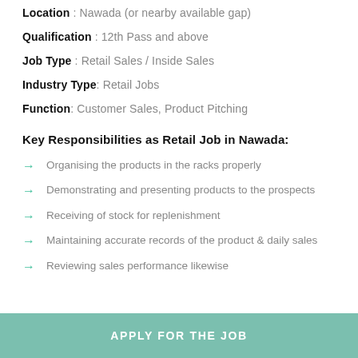Location : Nawada (or nearby available gap)
Qualification : 12th Pass and above
Job Type : Retail Sales / Inside Sales
Industry Type: Retail Jobs
Function: Customer Sales, Product Pitching
Key Responsibilities as Retail Job in Nawada:
Organising the products in the racks properly
Demonstrating and presenting products to the prospects
Receiving of stock for replenishment
Maintaining accurate records of the product & daily sales
Reviewing sales performance likewise
APPLY FOR THE JOB